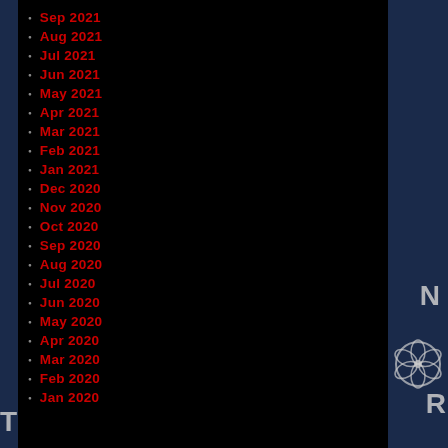Sep 2021
Aug 2021
Jul 2021
Jun 2021
May 2021
Apr 2021
Mar 2021
Feb 2021
Jan 2021
Dec 2020
Nov 2020
Oct 2020
Sep 2020
Aug 2020
Jul 2020
Jun 2020
May 2020
Apr 2020
Mar 2020
Feb 2020
Jan 2020